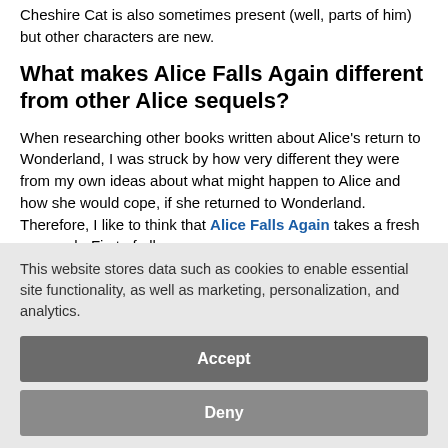Cheshire Cat is also sometimes present (well, parts of him) but other characters are new.
What makes Alice Falls Again different from other Alice sequels?
When researching other books written about Alice's return to Wonderland, I was struck by how very different they were from my own ideas about what might happen to Alice and how she would cope, if she returned to Wonderland. Therefore, I like to think that Alice Falls Again takes a fresh approach. First of all,
This website stores data such as cookies to enable essential site functionality, as well as marketing, personalization, and analytics.
Accept
Deny